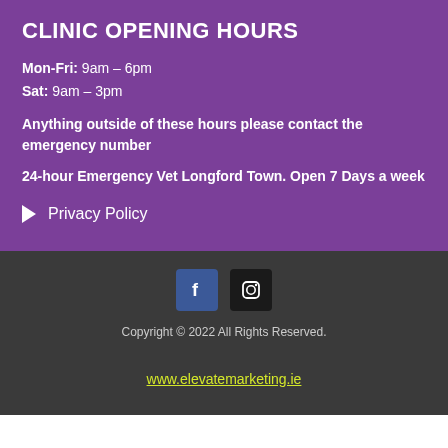CLINIC OPENING HOURS
Mon-Fri: 9am – 6pm
Sat: 9am – 3pm
Anything outside of these hours please contact the emergency number
24-hour Emergency Vet Longford Town. Open 7 Days a week
▶ Privacy Policy
[Figure (logo): Facebook and Instagram social media icons]
Copyright © 2022 All Rights Reserved.
www.elevatemarketing.ie